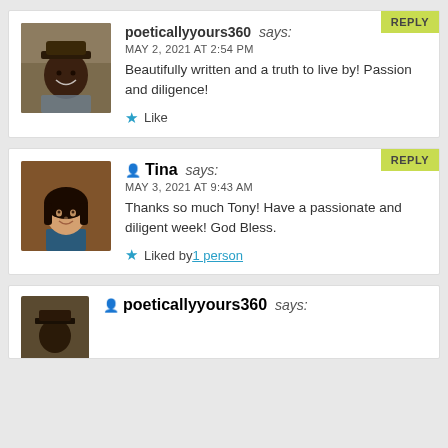poeticallyyours360 says: MAY 2, 2021 AT 2:54 PM Beautifully written and a truth to live by! Passion and diligence! Like
Tina says: MAY 3, 2021 AT 9:43 AM Thanks so much Tony! Have a passionate and diligent week! God Bless. Liked by 1 person
poeticallyyours360 says: